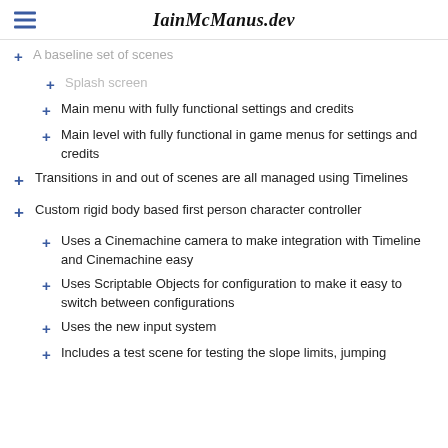IainMcManus.dev
A baseline set of scenes (partial, top)
Splash screen (partial)
Main menu with fully functional settings and credits
Main level with fully functional in game menus for settings and credits
Transitions in and out of scenes are all managed using Timelines
Custom rigid body based first person character controller
Uses a Cinemachine camera to make integration with Timeline and Cinemachine easy
Uses Scriptable Objects for configuration to make it easy to switch between configurations
Uses the new input system
Includes a test scene for testing the slope limits, jumping (partial)